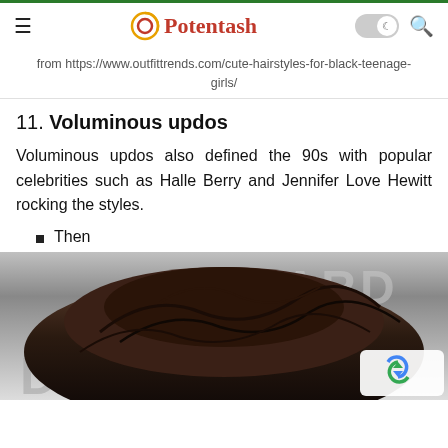Potentash
from https://www.outfittrends.com/cute-hairstyles-for-black-teenage-girls/
11. Voluminous updos
Voluminous updos also defined the 90s with popular celebrities such as Halle Berry and Jennifer Love Hewitt rocking the styles.
Then
[Figure (photo): Close-up photo of a voluminous updo hairstyle at what appears to be an awards event, with partial text 'AWARD' and 'DE' visible in the background.]